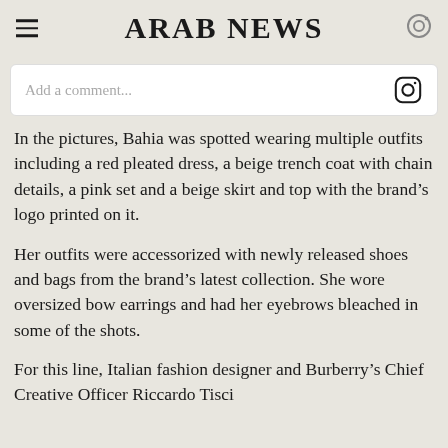ARAB NEWS
[Figure (screenshot): Instagram comment input box with placeholder text 'Add a comment...' and Instagram camera icon on the right]
In the pictures, Bahia was spotted wearing multiple outfits including a red pleated dress, a beige trench coat with chain details, a pink set and a beige skirt and top with the brand’s logo printed on it.
Her outfits were accessorized with newly released shoes and bags from the brand’s latest collection. She wore oversized bow earrings and had her eyebrows bleached in some of the shots.
For this line, Italian fashion designer and Burberry’s Chief Creative Officer Riccardo Tisci